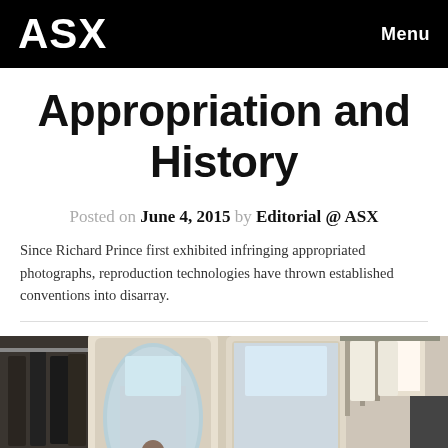ASX | Menu
Appropriation and History
Posted on June 4, 2015 by Editorial @ ASX
Since Richard Prince first exhibited infringing appropriated photographs, reproduction technologies have thrown established conventions into disarray.
[Figure (photo): Interior scene of what appears to be a clothing store or fitting room with ornate mirrors, hanging garments, and a person visible in the reflection]